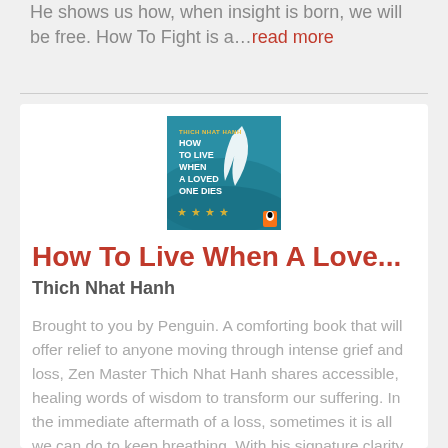He shows us how, when insight is born, we will be free. How To Fight is a... read more
[Figure (illustration): Book cover of 'How To Live When A Loved One Dies' by Thich Nhat Hanh, published by Penguin. Teal/blue cover with white text and a decorative feather motif, with star rating icons at the bottom.]
How To Live When A Love...
Thich Nhat Hanh
Brought to you by Penguin. A comforting book that will offer relief to anyone moving through intense grief and loss, Zen Master Thich Nhat Hanh shares accessible, healing words of wisdom to transform our suffering. In the immediate aftermath of a loss, sometimes it is all we can do to keep breathing. With his signature clarity and compassion, Thich Nhat Hanh will guide you through the